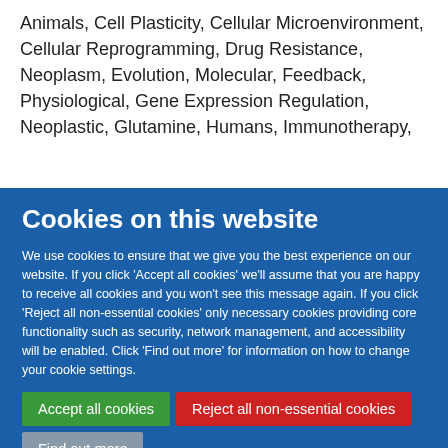Animals, Cell Plasticity, Cellular Microenvironment, Cellular Reprogramming, Drug Resistance, Neoplasm, Evolution, Molecular, Feedback, Physiological, Gene Expression Regulation, Neoplastic, Glutamine, Humans, Immunotherapy,
Cookies on this website
We use cookies to ensure that we give you the best experience on our website. If you click 'Accept all cookies' we'll assume that you are happy to receive all cookies and you won't see this message again. If you click 'Reject all non-essential cookies' only necessary cookies providing core functionality such as security, network management, and accessibility will be enabled. Click 'Find out more' for information on how to change your cookie settings.
Accept all cookies
Reject all non-essential cookies
Find out more